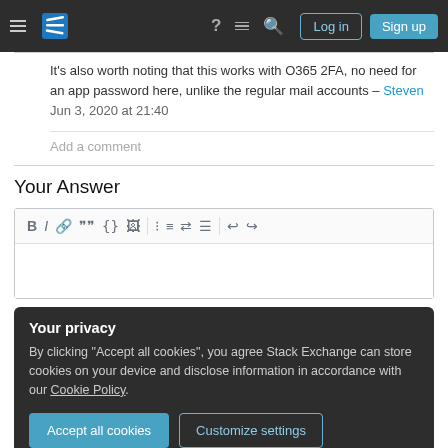Stack Exchange navigation header with hamburger menu, site logo, help, inbox, search icons, Log in and Sign up buttons
It's also worth noting that this works with O365 2FA, no need for an app password here, unlike the regular mail accounts – Steven Jun 3, 2020 at 21:40
Add a comment
Your Answer
[Figure (screenshot): Text editor toolbar with formatting buttons: Bold, Italic, Link, Blockquote, Code, Image, Ordered list, Unordered list, Align left, Align justify, Undo, Redo]
Your privacy
By clicking "Accept all cookies", you agree Stack Exchange can store cookies on your device and disclose information in accordance with our Cookie Policy.
Accept all cookies  Customize settings